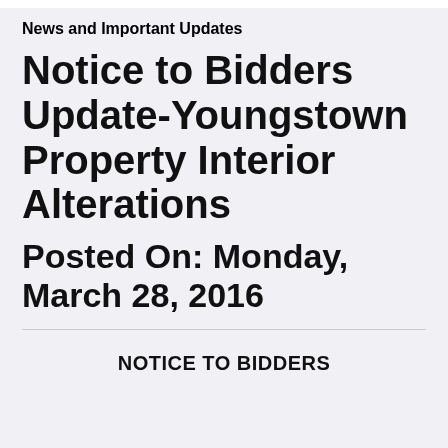News and Important Updates
Notice to Bidders Update-Youngstown Property Interior Alterations
Posted On: Monday, March 28, 2016
NOTICE TO BIDDERS